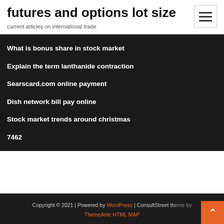futures and options lot size
current articles on international trade
What is bonus share in stock market
Explain the term lanthanide contraction
Searscard.com online payment
Dish network bill pay online
Stock market trends around christmas
7462
Copyright © 2021 | Powered by WordPress | ConsultStreet theme by ThemeArile HTML MAP